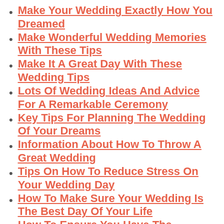Make Your Wedding Exactly How You Dreamed
Make Wonderful Wedding Memories With These Tips
Make It A Great Day With These Wedding Tips
Lots Of Wedding Ideas And Advice For A Remarkable Ceremony
Key Tips For Planning The Wedding Of Your Dreams
Information About How To Throw A Great Wedding
Tips On How To Reduce Stress On Your Wedding Day
How To Make Sure Your Wedding Is The Best Day Of Your Life
How To Ensure You Have The Wedding Of Your Dreams
Everything You Need To Know For The